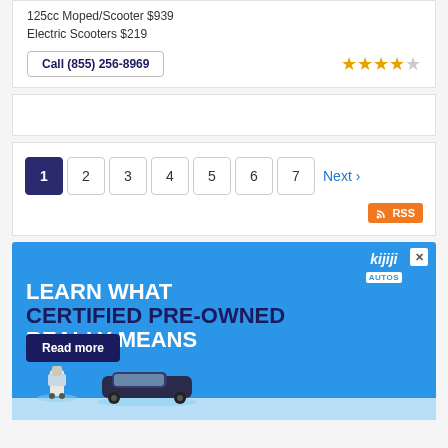125cc Moped/Scooter $939
Electric Scooters $219
Call (855) 256-8969
★★★★☆
[Figure (other): Pagination navigation with pages 1-7 and Next link, plus RSS button. Page 1 is active/highlighted.]
[Figure (other): Kijiji Autos advertisement banner with blue background. Text reads: LEARN WHAT CERTIFIED PRE-OWNED REALLY MEANS. Read more button. Shows person and car silhouette.]